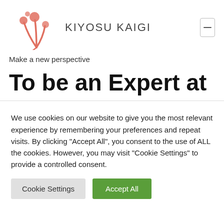[Figure (logo): Kiyosu Kaigi logo with coral/salmon colored plant stem and circular buds on left, text 'KIYOSU KAIGI' in spaced dark letters]
Make a new perspective
To be an Expert at
We use cookies on our website to give you the most relevant experience by remembering your preferences and repeat visits. By clicking "Accept All", you consent to the use of ALL the cookies. However, you may visit "Cookie Settings" to provide a controlled consent.
Cookie Settings | Accept All